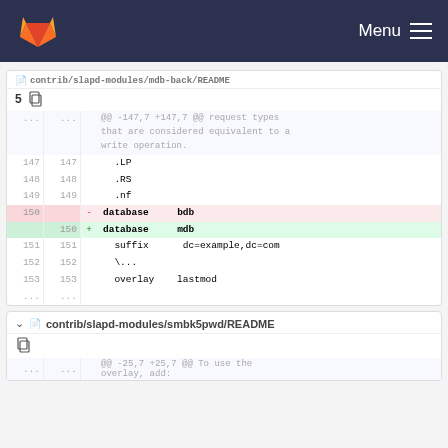Menu
contrib/slapd-modules/mdb-back/README ... 5 [copy icon]
| old ln | new ln | sign | code |
| --- | --- | --- | --- |
| ... | ... |  | @@ -147,7 +147,7 @@ request types that are considered equivalent to a write operation. |
| 147 | 147 |  | .LP |
| 148 | 148 |  | .RS |
| 149 | 149 |  | .nf |
| 150 |  | - | database    bdb |
|  | 150 | + | database    mdb |
| 151 | 151 |  | suffix      dc=example,dc=com |
| 152 | 152 |  | \... |
| 153 | 153 |  | overlay     lastmod |
| ... | ... |  |  |
contrib/slapd-modules/smbk5pwd/README [copy icon]
| old ln | new ln | sign | code |
| --- | --- | --- | --- |
| ... | ... |  | @@ -25,7 +25,7 @@ To use the overlay, add: |